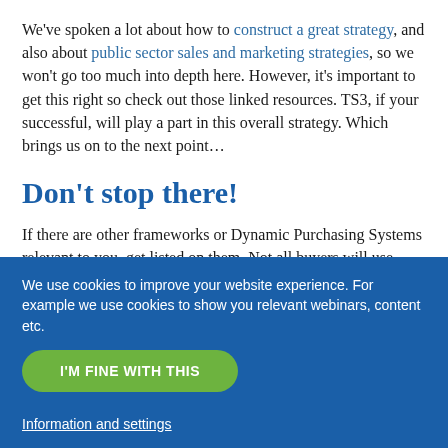We've spoken a lot about how to construct a great strategy, and also about public sector sales and marketing strategies, so we won't go too much into depth here. However, it's important to get this right so check out those linked resources. TS3, if your successful, will play a part in this overall strategy. Which brings us on to the next point…
Don't stop there!
If there are other frameworks or Dynamic Purchasing Systems relevant to you, get listed on them. Not all buyers will use Technology Services 3, there may be crossover with other frameworks in CCS's pipeline and they may look there
We use cookies to improve your website experience. For example we use cookies to show you relevant webinars, content etc.
I'M FINE WITH THIS
Information and settings